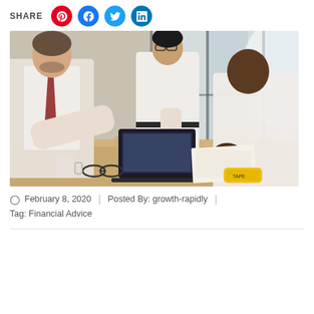SHARE
[Figure (photo): Three businessmen in white shirts collaborating around a table with a laptop, papers, glasses, and a tape measure. One man leans over typing, one stands watching, and one on the right writes on paper. Office environment with large windows.]
February 8, 2020 | Posted By: growth-rapidly |
Tag: Financial Advice